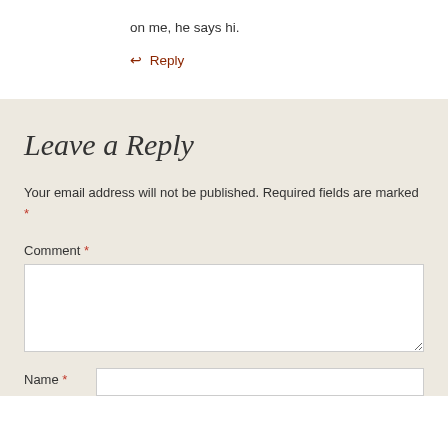on me, he says hi.
↩ Reply
Leave a Reply
Your email address will not be published. Required fields are marked *
Comment *
Name *